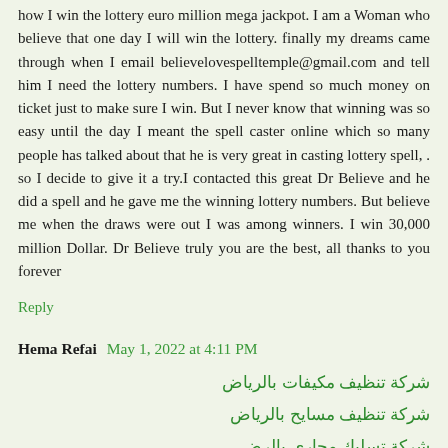how I win the lottery euro million mega jackpot. I am a Woman who believe that one day I will win the lottery. finally my dreams came through when I email believelovespelltemple@gmail.com and tell him I need the lottery numbers. I have spend so much money on ticket just to make sure I win. But I never know that winning was so easy until the day I meant the spell caster online which so many people has talked about that he is very great in casting lottery spell, . so I decide to give it a try.I contacted this great Dr Believe and he did a spell and he gave me the winning lottery numbers. But believe me when the draws were out I was among winners. I win 30,000 million Dollar. Dr Believe truly you are the best, all thanks to you forever
Reply
Hema Refai  May 1, 2022 at 4:11 PM
شركة تنظيف مكيفات بالرياض
شركة تنظيف مسايح بالرياض
شركة تسليك مجارى بالرض
شركة تنظيف مجالس بالرياض
شركة صيانة كمبياء بالرياض